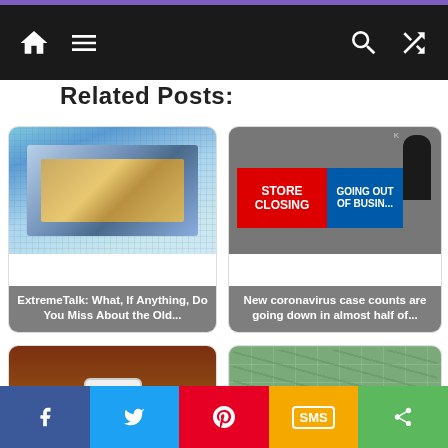Navigation bar with home, menu, search, shuffle icons
Related Posts:
[Figure (photo): Close-up photo of a computer processor/chip on a green circuit board]
ExtremeTalk: What, If Anything, Do You Miss About the Old...
[Figure (photo): Store closing and going out of business signs with a person in the background]
New coronavirus case counts are going down in almost half of...
[Figure (photo): Female firefighter speaking at a podium in uniform]
Firefighter says police wouldn't let her check on Floyd, so...
[Figure (photo): Aerial view of people sitting at desks spaced apart in a large hall for vaccination]
Here are tips to help you get fully vaccinated and get your...
Facebook | Twitter | Pinterest | SMS | Share